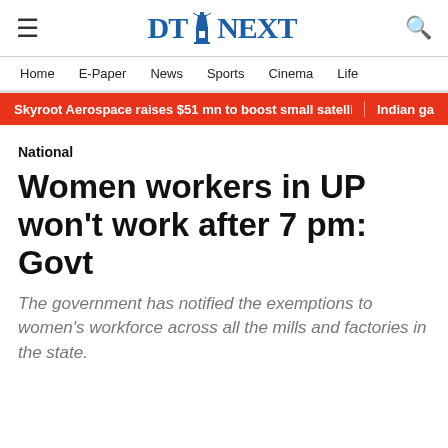DT NEXT
Home | E-Paper | News | Sports | Cinema | Life
Skyroot Aerospace raises $51 mn to boost small satellite launches | Indian ga
National
Women workers in UP won't work after 7 pm: Govt
The government has notified the exemptions to women's workforce across all the mills and factories in the state.